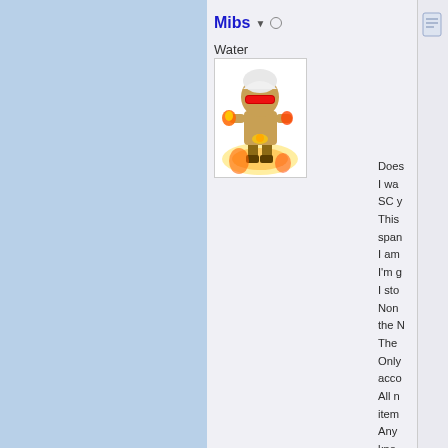Mibs
Water
[Figure (illustration): Pixel-art game character with a white cap, red visor, holding fire elements, glowing orange aura at feet]
Does
I wa
SC y
This
span
I am
I'm g
I sto
Non
the N
The
Only
acco
All n
item
Any
kno

Can


Edit
stuff
actu

Edit